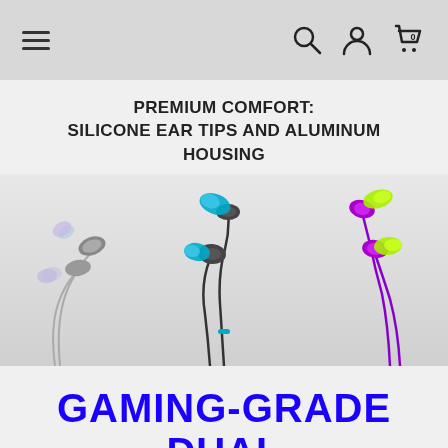Navigation bar with hamburger menu, search, account, and cart icons
PREMIUM COMFORT: SILICONE EAR TIPS AND ALUMINUM HOUSING
[Figure (photo): Multiple in-ear earphones in three color variants: silver/grey with light purple tips, black with blue tips, and purple/violet with yellow-green tips, arranged on a light grey background.]
GAMING-GRADE DUAL